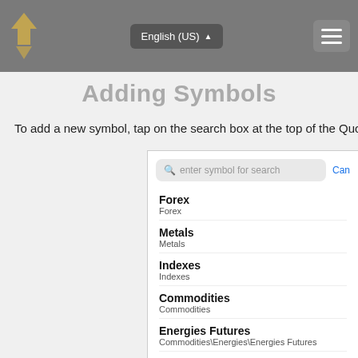English (US)
Adding Symbols
To add a new symbol, tap on the search box at the top of the Quo
[Figure (screenshot): Mobile app screenshot showing a symbol search panel with a search box labeled 'enter symbol for search' and a list of categories: Forex, Metals, Indexes, Commodities, Energies Futures (Commodities\Energies\Energies Futures), Energies Spot (Commodities\Energies\Energies Spot), Softs (Commodities\Softs). A 'Can' (Cancel) button appears at the top right.]